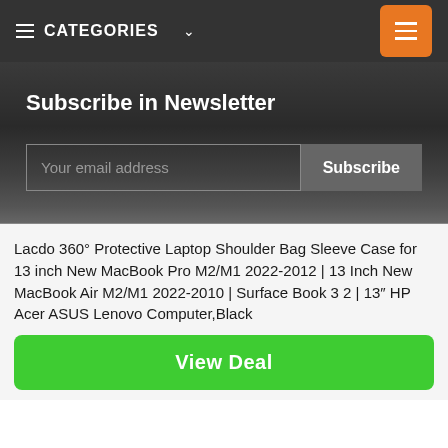CATEGORIES
Subscribe in Newsletter
Your email address
Subscribe
Lacdo 360° Protective Laptop Shoulder Bag Sleeve Case for 13 inch New MacBook Pro M2/M1 2022-2012 | 13 Inch New MacBook Air M2/M1 2022-2010 | Surface Book 3 2 | 13″ HP Acer ASUS Lenovo Computer,Black
View Deal